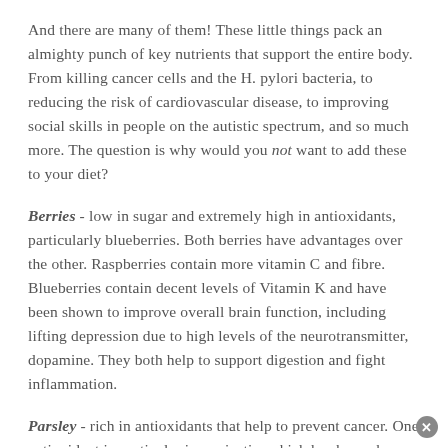And there are many of them! These little things pack an almighty punch of key nutrients that support the entire body. From killing cancer cells and the H. pylori bacteria, to reducing the risk of cardiovascular disease, to improving social skills in people on the autistic spectrum, and so much more. The question is why would you not want to add these to your diet?
Berries - low in sugar and extremely high in antioxidants, particularly blueberries. Both berries have advantages over the other. Raspberries contain more vitamin C and fibre. Blueberries contain decent levels of Vitamin K and have been shown to improve overall brain function, including lifting depression due to high levels of the neurotransmitter, dopamine. They both help to support digestion and fight inflammation.
Parsley - rich in antioxidants that help to prevent cancer. One antioxidant in particular is myricetin, which has been shown to be effective in killing certain types of